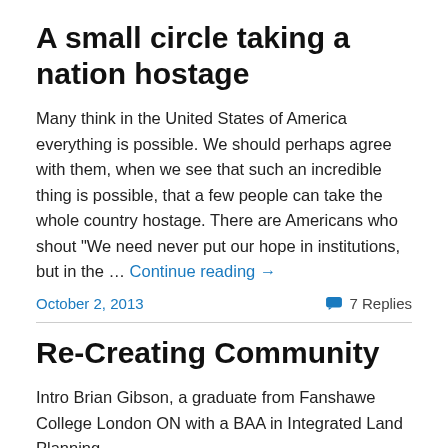A small circle taking a nation hostage
Many think in the United States of America everything is possible. We should perhaps agree with them, when we see that such an incredible thing is possible, that a few people can take the whole country hostage. There are Americans who shout "We need never put our hope in institutions, but in the … Continue reading →
October 2, 2013    7 Replies
Re-Creating Community
Intro Brian Gibson, a graduate from Fanshawe College London ON with a BAA in Integrated Land Planning